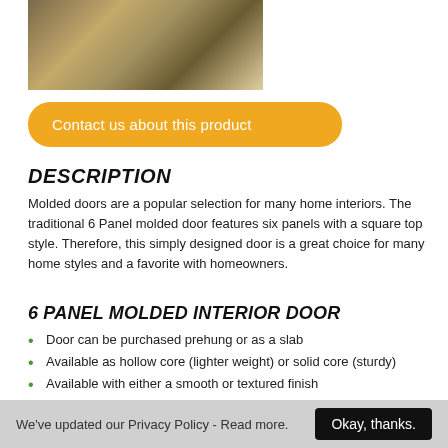[Figure (photo): Interior hallway with multiple wooden molded doors visible]
Contact us about this product
DESCRIPTION
Molded doors are a popular selection for many home interiors. The traditional 6 Panel molded door features six panels with a square top style. Therefore, this simply designed door is a great choice for many home styles and a favorite with homeowners.
6 PANEL MOLDED INTERIOR DOOR
Door can be purchased prehung or as a slab
Available as hollow core (lighter weight) or solid core (sturdy)
Available with either a smooth or textured finish
6 Panel may also be found as a matching bi-fold door (80"
We've updated our Privacy Policy - Read more.   Okay, thanks.